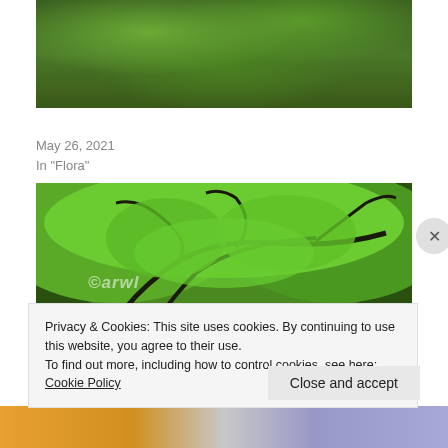[Figure (photo): Partial top view of dense green forest/tree canopy, cropped at top]
Salai Guggul Tree | The Aravali's Ayurvedic Gift
May 26, 2021
In "Flora"
[Figure (photo): A large sprawling tree with gnarled branches covered in bright green leaves in a forest, with watermark '©arwl']
Privacy & Cookies: This site uses cookies. By continuing to use this website, you agree to their use.
To find out more, including how to control cookies, see here: Cookie Policy